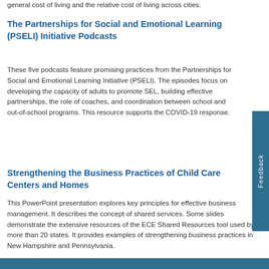general cost of living and the relative cost of living across cities.
The Partnerships for Social and Emotional Learning (PSELI) Initiative Podcasts
These five podcasts feature promising practices from the Partnerships for Social and Emotional Learning Initiative (PSELI). The episodes focus on developing the capacity of adults to promote SEL, building effective partnerships, the role of coaches, and coordination between school and out-of-school programs. This resource supports the COVID-19 response.
Strengthening the Business Practices of Child Care Centers and Homes
This PowerPoint presentation explores key principles for effective business management. It describes the concept of shared services. Some slides demonstrate the extensive resources of the ECE Shared Resources tool used by more than 20 states. It provides examples of strengthening business practices in New Hampshire and Pennsylvania.